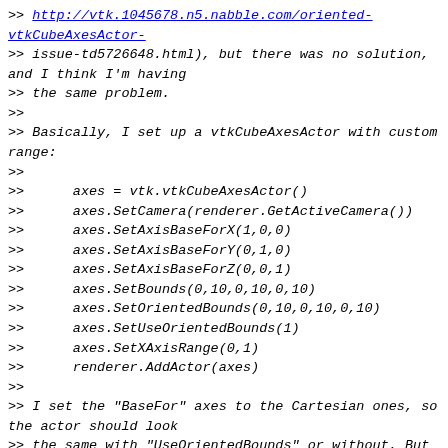>> http://vtk.1045678.n5.nabble.com/oriented-vtkCubeAxesActor-
>> issue-td5726648.html), but there was no solution, and I think I'm having
>> the same problem.
>>
>> Basically, I set up a vtkCubeAxesActor with custom range:
>>
>>      axes = vtk.vtkCubeAxesActor()
>>      axes.SetCamera(renderer.GetActiveCamera())
>>      axes.SetAxisBaseForX(1,0,0)
>>      axes.SetAxisBaseForY(0,1,0)
>>      axes.SetAxisBaseForZ(0,0,1)
>>      axes.SetBounds(0,10,0,10,0,10)
>>      axes.SetOrientedBounds(0,10,0,10,0,10)
>>      axes.SetUseOrientedBounds(1)
>>      axes.SetXAxisRange(0,1)
>>      renderer.AddActor(axes)
>>
>> I set the "BaseFor" axes to the Cartesian ones, so the actor should look
>> the same with "UseOrientedBounds" or without. But with oriented bounds I
>> get an X axis labeled from 0 to 10, while without it it's 0 to 1, as I
>> requested.
>>
>> Also, if I use the oriented bounds and do not set the bounds, there is